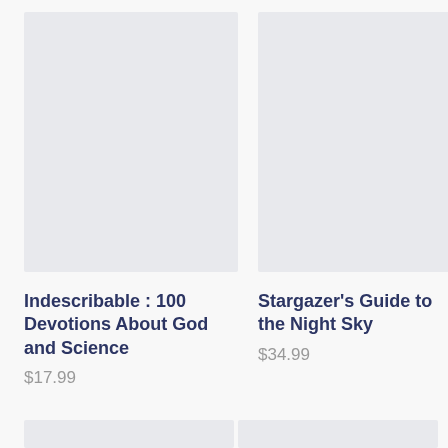[Figure (illustration): Book cover placeholder image, light gray rectangle, left column top]
[Figure (illustration): Book cover placeholder image, light gray rectangle, right column top]
Indescribable : 100 Devotions About God and Science
$17.99
Stargazer's Guide to the Night Sky
$34.99
[Figure (illustration): Book cover placeholder image, light gray rectangle, left column bottom (partially visible)]
[Figure (illustration): Book cover placeholder image, light gray rectangle, right column bottom (partially visible)]